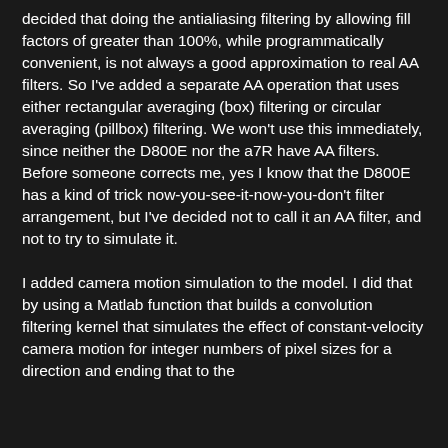decided that doing the antialiasing filtering by allowing fill factors of greater than 100%, while programmatically convenient, is not always a good approximation to real AA filters. So I've added a separate AA operation that uses either rectangular averaging (box) filtering or circular averaging (pillbox) filtering. We won't use this immediately, since neither the D800E nor the a7R have AA filters. Before someone corrects me, yes I know that the D800E has a kind of trick now-you-see-it-now-you-don't filter arrangement, but I've decided not to call it an AA filter, and not to try to simulate it.
I added camera motion simulation to the model. I did that by using a Matlab function that builds a convolution filtering kernel that simulates the effect of constant-velocity camera motion for integer numbers of pixel sizes for a direction and ending that to the